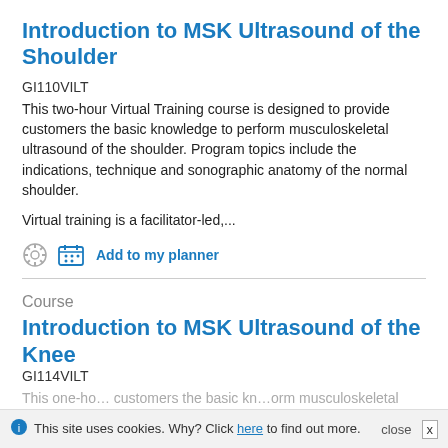Introduction to MSK Ultrasound of the Shoulder
GI110VILT
This two-hour Virtual Training course is designed to provide customers the basic knowledge to perform musculoskeletal ultrasound of the shoulder. Program topics include the indications, technique and sonographic anatomy of the normal shoulder.
Virtual training is a facilitator-led,...
Add to my planner
Course
Introduction to MSK Ultrasound of the Knee
GI114VILT
This one-ho... customers the basic kn... orm musculoskeletal
This site uses cookies. Why? Click here to find out more. close x